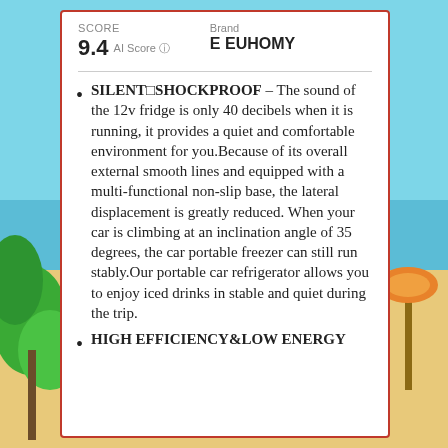SCORE 9.4 AI Score | Brand E EUHOMY
SILENT□SHOCKPROOF – The sound of the 12v fridge is only 40 decibels when it is running, it provides a quiet and comfortable environment for you.Because of its overall external smooth lines and equipped with a multi-functional non-slip base, the lateral displacement is greatly reduced. When your car is climbing at an inclination angle of 35 degrees, the car portable freezer can still run stably.Our portable car refrigerator allows you to enjoy iced drinks in stable and quiet during the trip.
HIGH EFFICIENCY&LOW ENERGY